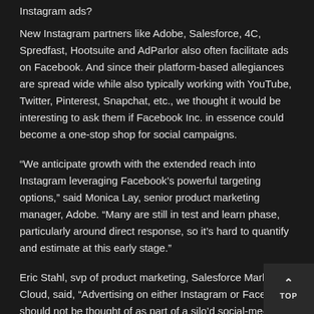Instagram ads?
New Instagram partners like Adobe, Salesforce, 4C, Spredfast, Hootsuite and AdParlor also often facilitate ads on Facebook. And since their platform-based allegiances are spread wide while also typically working with YouTube, Twitter, Pinterest, Snapchat, etc., we thought it would be interesting to ask them if Facebook Inc. in essence could become a one-stop shop for social campaigns.
“We anticipate growth with the extended reach into Instagram leveraging Facebook’s powerful targeting options,” said Monica Lay, senior product marketing manager, Adobe. “Many are still in test and learn phase, particularly around direct response, so it’s hard to quantify and estimate at this early stage.”
Eric Stahl, svp of product marketing, Salesforce Marketing Cloud, said, “Advertising on either Instagram or Facebook should not be thought of as part of a silo’d social-media